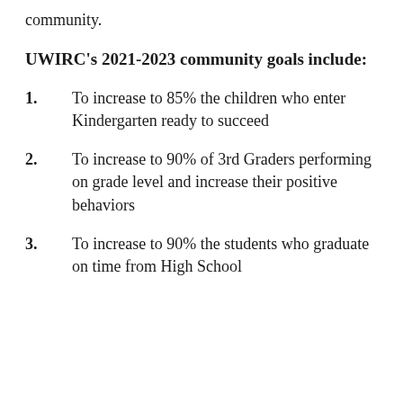community.
UWIRC's 2021-2023 community goals include:
1.      To increase to 85% the children who enter Kindergarten ready to succeed
2.      To increase to 90% of 3rd Graders performing on grade level and increase their positive behaviors
3.      To increase to 90% the students who graduate on time from High School